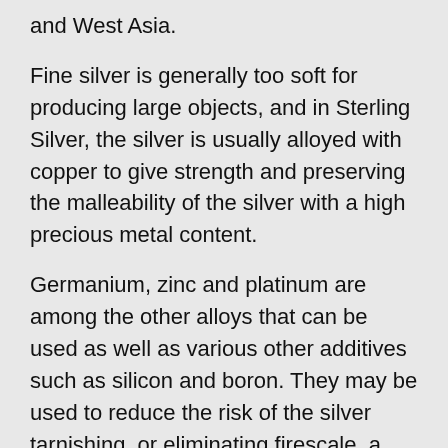and West Asia.
Fine silver is generally too soft for producing large objects, and in Sterling Silver, the silver is usually alloyed with copper to give strength and preserving the malleability of the silver with a high precious metal content.
Germanium, zinc and platinum are among the other alloys that can be used as well as various other additives such as silicon and boron. They may be used to reduce the risk of the silver tarnishing, or eliminating firescale, a red or purple stain.
Like gemstones, silver has been given many meanings related to spirituality and to the properties it contains.
The moon and its energies are related to silver in Chinese Feng Shui. This is combining rights to iron the